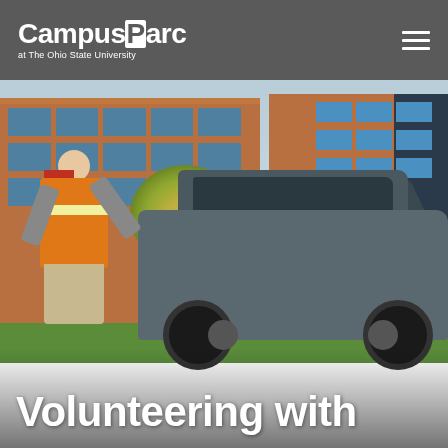CampusParc at The Ohio State University
[Figure (photo): A man wearing an orange high-visibility safety vest leans over toward a gray Jeep SUV with the rear hatch open, on a campus parking area. In the background is a brick university building and a tree with autumn foliage.]
Volunteering with